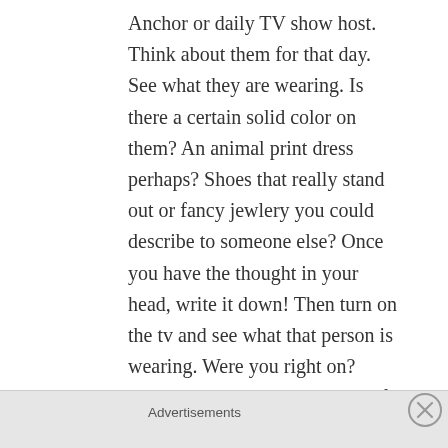Anchor or daily TV show host. Think about them for that day. See what they are wearing. Is there a certain solid color on them? An animal print dress perhaps? Shoes that really stand out or fancy jewlery you could describe to someone else? Once you have the thought in your head, write it down! Then turn on the tv and see what that person is wearing. Were you right on? Close? Not close at all? It’s ok if you didn’t get it today, you wrote it down. Maybe tomorrow or someday soon
Advertisements